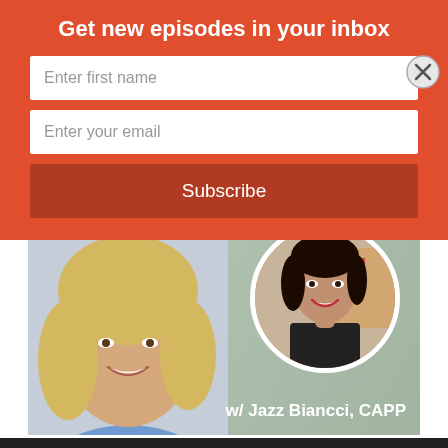Get new episodes in your inbox
Enter first name
Enter your email
Subscribe
[Figure (photo): Podcast episode image showing two women. Left: a blonde woman smiling, faded background host photo. Right: a circular cropped photo of a dark-haired woman in a black top smiling. Text overlay reads 'Episode 414' and 'w/ Jazz Biancci, CAPP']
Episode 414
w/ Jazz Biancci, CAPP